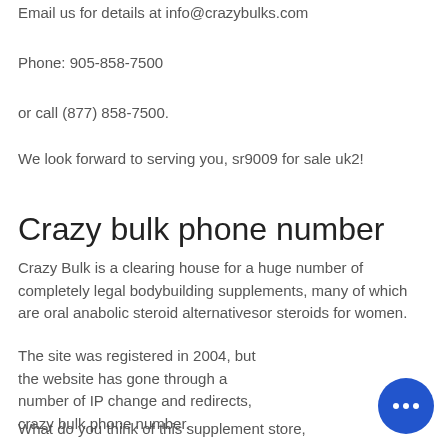Email us for details at info@crazybulks.com
Phone: 905-858-7500
or call (877) 858-7500.
We look forward to serving you, sr9009 for sale uk2!
Crazy bulk phone number
Crazy Bulk is a clearing house for a huge number of completely legal bodybuilding supplements, many of which are oral anabolic steroid alternativesor steroids for women.
The site was registered in 2004, but the website has gone through a number of IP change and redirects, crazy bulk phone number.
What do you think of this supplement store,